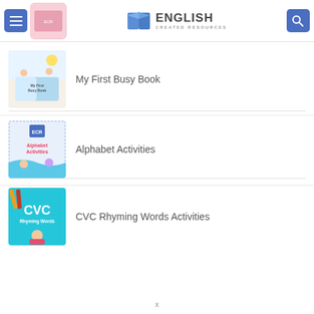English Created Resources – menu, logo, search
[Figure (illustration): Book cover thumbnail: My First Busy Book – children reading with colorful illustration]
My First Busy Book
[Figure (illustration): Book cover thumbnail: Alphabet Activities – kids with colorful alphabet theme]
Alphabet Activities
[Figure (illustration): Book cover thumbnail: CVC Rhyming Words Activities – teal cover with child reading]
CVC Rhyming Words Activities